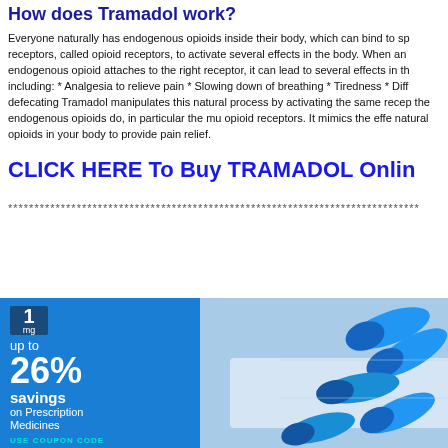How does Tramadol work?
Everyone naturally has endogenous opioids inside their body, which can bind to specific receptors, called opioid receptors, to activate several effects in the body. When an endogenous opioid attaches to the right receptor, it can lead to several effects in the body including: * Analgesia to relieve pain * Slowing down of breathing * Tiredness * Difficulty defecating Tramadol manipulates this natural process by activating the same receptors that the endogenous opioids do, in particular the mu opioid receptors. It mimics the effects of the natural opioids in your body to provide pain relief.
CLICK HERE To Buy TRAMADOL Online
******************************************************************************
[Figure (photo): Pharmacy advertisement showing 1mg logo, text 'up to 26% savings on Prescription Medicines', coupon code section, and blue capsule pills on white background]